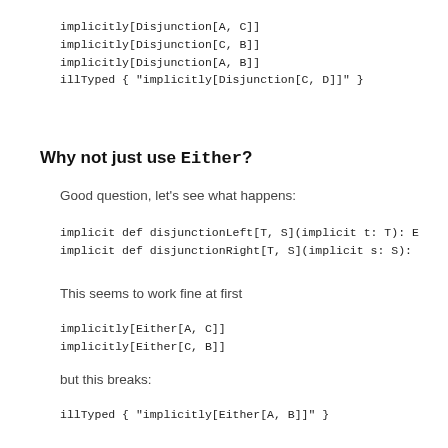implicitly[Disjunction[A, C]]
implicitly[Disjunction[C, B]]
implicitly[Disjunction[A, B]]
illTyped { "implicitly[Disjunction[C, D]]" }
Why not just use Either?
Good question, let's see what happens:
implicit def disjunctionLeft[T, S](implicit t: T): E
implicit def disjunctionRight[T, S](implicit s: S):
This seems to work fine at first
implicitly[Either[A, C]]
implicitly[Either[C, B]]
but this breaks:
illTyped { "implicitly[Either[A, B]]" }